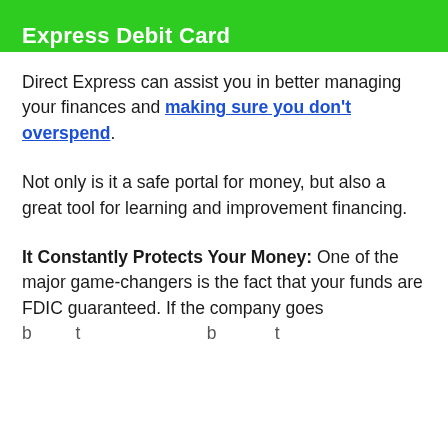Express Debit Card
Direct Express can assist you in better managing your finances and making sure you don't overspend.
Not only is it a safe portal for money, but also a great tool for learning and improvement financing.
It Constantly Protects Your Money: One of the major game-changers is the fact that your funds are FDIC guaranteed. If the company goes [truncated]